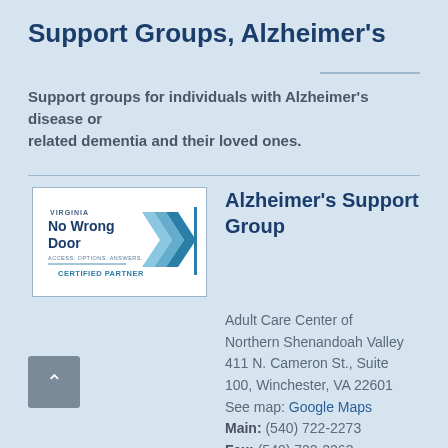Support Groups, Alzheimer's
Support groups for individuals with Alzheimer's disease or related dementia and their loved ones.
[Figure (logo): Virginia No Wrong Door – Access. Options. Answers. Certified Partner logo with blue chevron/arrow graphic]
Alzheimer's Support Group
Adult Care Center of Northern Shenandoah Valley 411 N. Cameron St., Suite 100, Winchester, VA 22601 See map: Google Maps Main: (540) 722-2273 Fax: (540) 722-2263